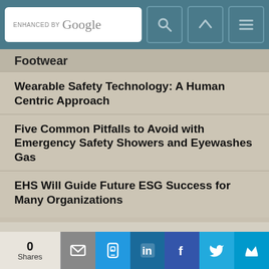ENHANCED BY Google [search bar with navigation icons]
Footwear
Wearable Safety Technology: A Human Centric Approach
Five Common Pitfalls to Avoid with Emergency Safety Showers and Eyewashes Gas
EHS Will Guide Future ESG Success for Many Organizations
FEATURED WHITEPAPER
Sponsored by Fabenco by Tractel®
Indoor Fall Safety Audits: A Quick Guide
[Figure (photo): Cover of whitepaper: Indoor Fall Safety Audits: A Quick Guide, showing workers in high-visibility vests]
0 Shares | Email | SMS | LinkedIn | Facebook | Twitter | Crown